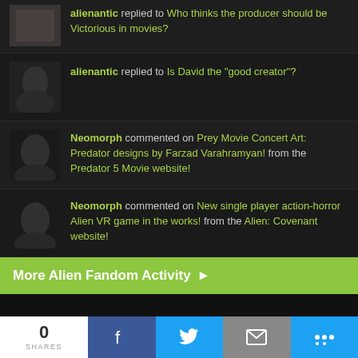alienantic replied to Who thinks the producer should be Victorious in movies?
alienantic replied to Is David the "good creator"?
Neomorph commented on Prey Movie Concert Art: Predator designs by Farzad Varahramyan! from the Predator 5 Movie website!
Neomorph commented on New single player action-horror Alien VR game in the works! from the Alien: Covenant website!
More Alien Fandom Activity ▶
0
SHARES